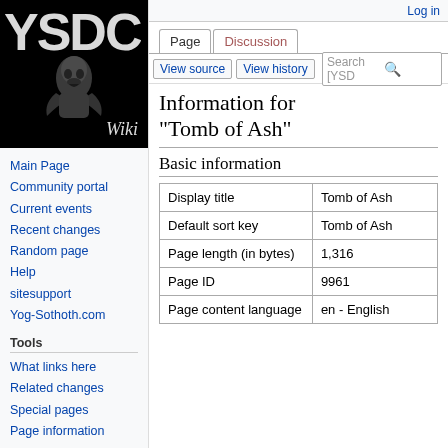Log in
[Figure (logo): YSDC Wiki logo — black background with YSDC letters and a dark creature figure, 'Wiki' text at bottom right]
Main Page
Community portal
Current events
Recent changes
Random page
Help
sitesupport
Yog-Sothoth.com
Tools
What links here
Related changes
Special pages
Page information
Information for "Tomb of Ash"
Basic information
|  |  |
| --- | --- |
| Display title | Tomb of Ash |
| Default sort key | Tomb of Ash |
| Page length (in bytes) | 1,316 |
| Page ID | 9961 |
| Page content language | en - English |